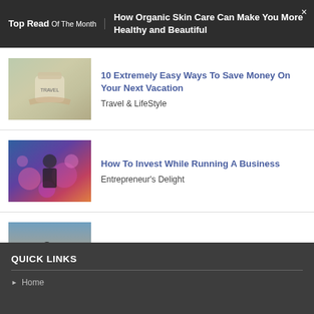Top Read Of The Month — How Organic Skin Care Can Make You More Healthy and Beautiful
[Figure (photo): Thumbnail image of a person holding a travel jar]
10 Extremely Easy Ways To Save Money On Your Next Vacation
Travel & LifeStyle
[Figure (photo): Thumbnail image related to business investment]
How To Invest While Running A Business
Entrepreneur's Delight
[Figure (photo): Thumbnail image of a person running on a beach at sunset]
Neville J Bilimoria runs for a cause
Travel & LifeStyle
QUICK LINKS
Home